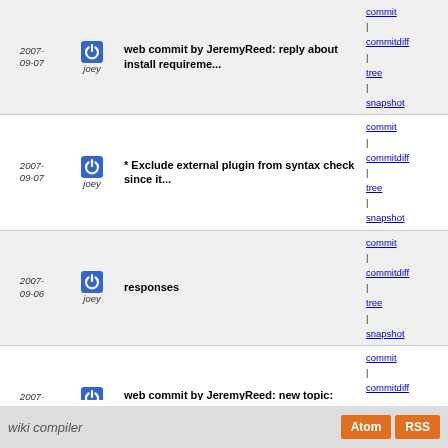2007-09-07 joey | web commit by JeremyReed: reply about install requireme... | commit | commitdiff | tree | snapshot
2007-09-07 joey | * Exclude external plugin from syntax check since it... | commit | commitdiff | tree | snapshot
2007-09-06 joey | responses | commit | commitdiff | tree | snapshot
2007-09-06 joey | web commit by JeremyReed: new topic: install selected docs? | commit | commitdiff | tree | snapshot
2007-09-06 joey | web commit by JeremyReed: followup on broken 2.6.1... | commit | commitdiff | tree | snapshot
2007-09-06 joey | commit. | commit | commitdiff | tree | snapshot
2007-09-05 joey | fix path issue when runnign test | commit | commitdiff | tree | snapshot
2007-09-05 joey | * Change git test suite to reflect change in log for... | commit | commitdiff | tree | snapshot
next
wiki compiler  Atom  RSS